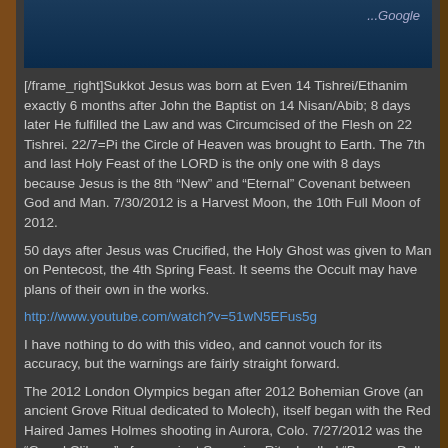[Figure (screenshot): Screenshot of a Google Maps satellite image showing a dark blue/teal map view with Google watermark in the top right corner]
[/frame_right]Sukkot Jesus was born at Even 14 Tishrei/Ethanim exactly 6 months after John the Baptist on 14 Nisan/Abib; 8 days later He fulfilled the Law and was Circumcised of the Flesh on 22 Tishrei. 22/7=Pi the Circle of Heaven was brought to Earth. The 7th and last Holy Feast of the LORD is the only one with 8 days because Jesus is the 8th “New” and “Eternal” Covenant between God and Man. 7/30/2012 is a Harvest Moon, the 10th Full Moon of 2012.
50 days after Jesus was Crucified, the Holy Ghost was given to Man on Pentecost, the 4th Spring Feast. It seems the Occult may have plans of their own in the works.
http://www.youtube.com/watch?v=51wN5EFus5g
I have nothing to do with this video, and cannot vouch for its accuracy, but the warnings are fairly straight forward.
The 2012 London Olympics began after 2012 Bohemian Grove (an ancient Grove Ritual dedicated to Molech), itself began with the Red Haired James Holmes shooting in Aurora, Colo. 7/27/2012 was the “Grand Clilmax” of an ancient Sumerian Ritual called “Begone Dull Care”; the Closing Ceremony featured a